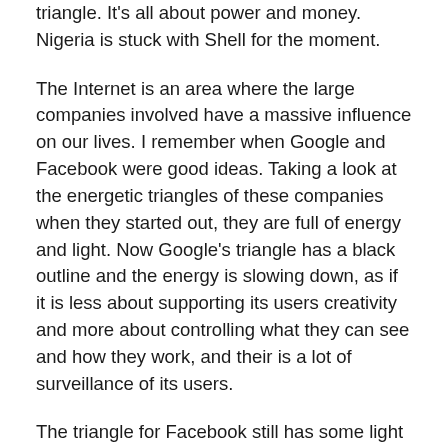triangle. It's all about power and money. Nigeria is stuck with Shell for the moment.
The Internet is an area where the large companies involved have a massive influence on our lives. I remember when Google and Facebook were good ideas. Taking a look at the energetic triangles of these companies when they started out, they are full of energy and light. Now Google's triangle has a black outline and the energy is slowing down, as if it is less about supporting its users creativity and more about controlling what they can see and how they work, and their is a lot of surveillance of its users.
The triangle for Facebook still has some light in it, but is starting to look sickly and stagnant as it is over-controlled and now set up with its main aim to make money for